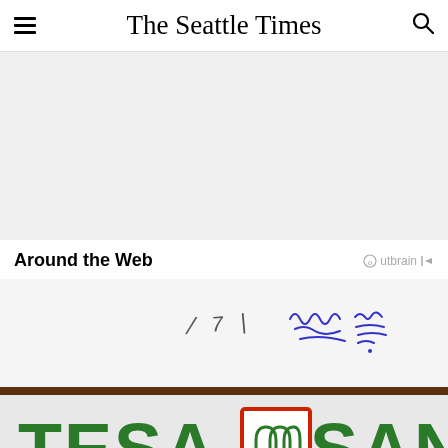The Seattle Times
[Figure (other): Gray advertisement placeholder rectangle]
Around the Web
[Figure (photo): Bank signage showing partial letters 'TESA' and 'SAND' in green, with a red-bordered logo icon, and a handwritten signature/annotation in blue ink on a white background in the upper portion]